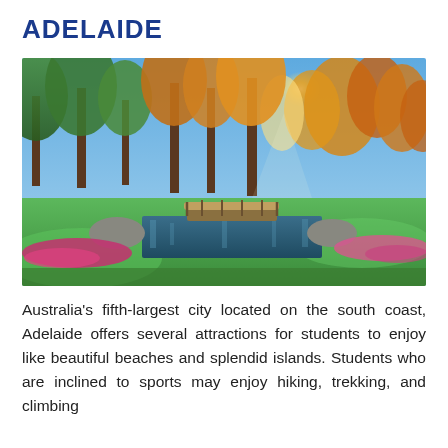ADELAIDE
[Figure (photo): A scenic park in Adelaide showing autumn-coloured trees (green, yellow, orange, red), a small wooden bridge over a calm reflective canal, green lawn, and colourful flower beds in the foreground, with bright sunlight filtering through the trees.]
Australia's fifth-largest city located on the south coast, Adelaide offers several attractions for students to enjoy like beautiful beaches and splendid islands. Students who are inclined to sports may enjoy hiking, trekking, and climbing